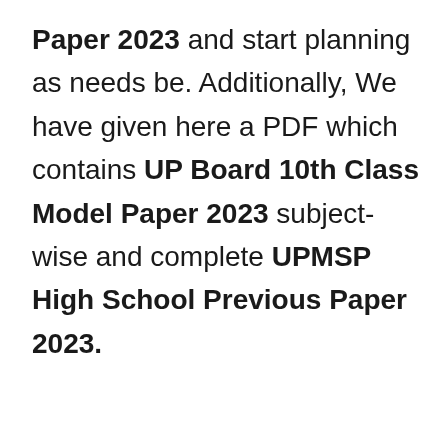Paper 2023 and start planning as needs be. Additionally, We have given here a PDF which contains UP Board 10th Class Model Paper 2023 subject-wise and complete UPMSP High School Previous Paper 2023.